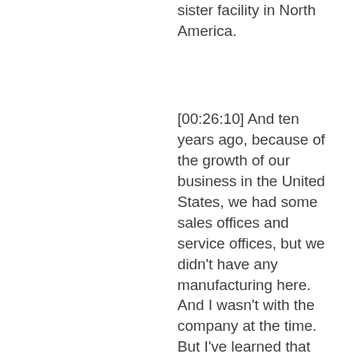sister facility in North America.
[00:26:10] And ten years ago, because of the growth of our business in the United States, we had some sales offices and service offices, but we didn't have any manufacturing here. And I wasn't with the company at the time. But I've learned that business was doing so well that we needed to expand and have something to manufacture in the U.S. to save money and to build them, build this equipment closer to the end user. And we were looking at places. In Dallas,